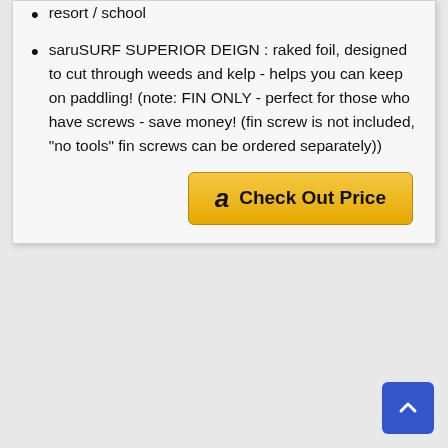resort / school
saruSURF SUPERIOR DEIGN : raked foil, designed to cut through weeds and kelp - helps you can keep on paddling! (note: FIN ONLY - perfect for those who have screws - save money! (fin screw is not included, "no tools" fin screws can be ordered separately))
[Figure (other): Amazon 'Check Out Price' button with Amazon logo]